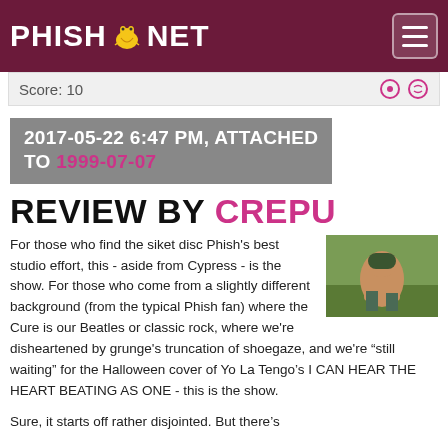PHISH.NET
Score: 10
2017-05-22 6:47 PM, ATTACHED TO 1999-07-07
REVIEW BY CREPU
[Figure (photo): Small photo of a child in green clothing outdoors]
For those who find the siket disc Phish's best studio effort, this - aside from Cypress - is the show. For those who come from a slightly different background (from the typical Phish fan) where the Cure is our Beatles or classic rock, where we're disheartened by grunge's truncation of shoegaze, and we're “still waiting” for the Halloween cover of Yo La Tengo's I CAN HEAR THE HEART BEATING AS ONE - this is the show.
Sure, it starts off rather disjointed. But there's